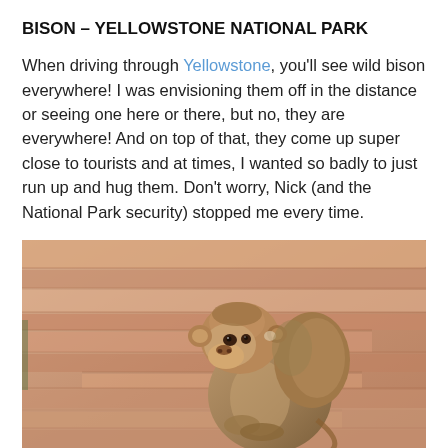BISON – YELLOWSTONE NATIONAL PARK
When driving through Yellowstone, you'll see wild bison everywhere!  I was envisioning them off in the distance or seeing one here or there, but no, they are everywhere!  And on top of that, they come up super close to tourists and at times, I wanted so badly to just run up and hug them.  Don't worry, Nick (and the National Park security) stopped me every time.
[Figure (photo): A rhesus macaque monkey sitting and looking toward the camera, with a sandy/rocky background in warm peach and tan tones.]